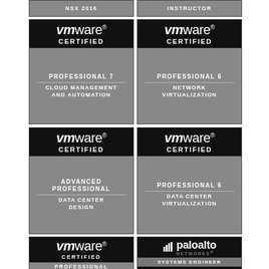[Figure (logo): VMware NSX 2016 badge (partial, top crop showing grey bottom section with text NSX 2016)]
[Figure (logo): VMware Instructor badge (partial, top crop showing grey bottom section with text INSTRUCTOR)]
[Figure (logo): VMware Certified Professional 7 Cloud Management and Automation badge]
[Figure (logo): VMware Certified Professional 6 Network Virtualization badge]
[Figure (logo): VMware Certified Advanced Professional Data Center Design badge]
[Figure (logo): VMware Certified Professional 6 Data Center Virtualization badge]
[Figure (logo): VMware Certified Professional Desktop badge (partial bottom crop)]
[Figure (logo): Palo Alto Networks Systems Engineer Endpoint Professional badge (partial bottom crop)]